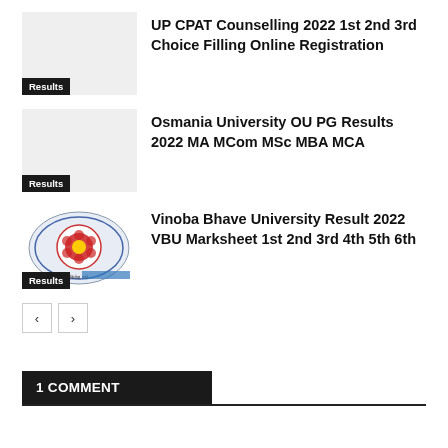[Figure (screenshot): Thumbnail placeholder (grey box) for UP CPAT article with Results badge]
UP CPAT Counselling 2022 1st 2nd 3rd Choice Filling Online Registration
[Figure (screenshot): Thumbnail placeholder (grey box) for Osmania University article with Results badge]
Osmania University OU PG Results 2022 MA MCom MSc MBA MCA
[Figure (logo): Vinoba Bhave University circular seal logo with Results badge]
Vinoba Bhave University Result 2022 VBU Marksheet 1st 2nd 3rd 4th 5th 6th
< >  (pagination buttons)
1 COMMENT